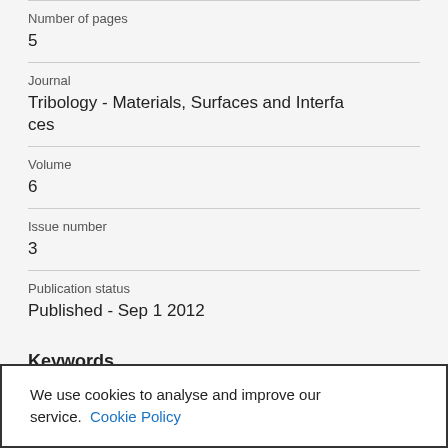Number of pages
5
Journal
Tribology - Materials, Surfaces and Interfaces
Volume
6
Issue number
3
Publication status
Published - Sep 1 2012
Keywords
We use cookies to analyse and improve our service. Cookie Policy